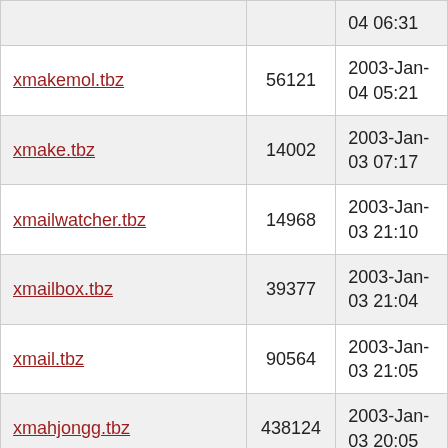| Filename | Size | Date |
| --- | --- | --- |
|  |  | 04 06:31 |
| xmakemol.tbz | 56121 | 2003-Jan-04 05:21 |
| xmake.tbz | 14002 | 2003-Jan-03 07:17 |
| xmailwatcher.tbz | 14968 | 2003-Jan-03 21:10 |
| xmailbox.tbz | 39377 | 2003-Jan-03 21:04 |
| xmail.tbz | 90564 | 2003-Jan-03 21:05 |
| xmahjongg.tbz | 438124 | 2003-Jan-03 20:05 |
| xmaddressbook.tbz | 29552 | 2003-Jan-04 05:03 |
| xlupe.tbz | 12033 | 2003-Jan-04 05:25 |
| xls2xml.tbz | 72204 | 2003-Jan-03 17:39 |
| xloops-ginac.tbz | 435959 | 2003-Jan-03 23:05 |
| xlogout.tbz | 6715 | 2003-Jan- |